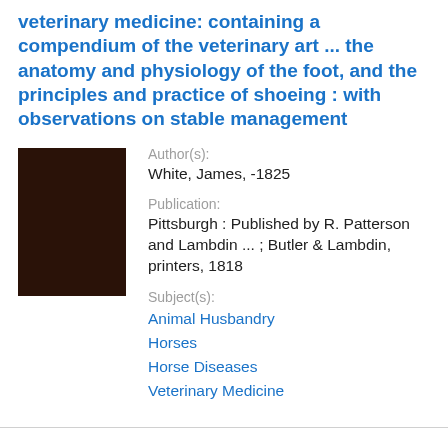veterinary medicine: containing a compendium of the veterinary art ... the anatomy and physiology of the foot, and the principles and practice of shoeing : with observations on stable management
[Figure (other): Dark brown book cover thumbnail image]
Author(s): White, James, -1825
Publication: Pittsburgh : Published by R. Patterson and Lambdin ... ; Butler & Lambdin, printers, 1818
Subject(s): Animal Husbandry, Horses, Horse Diseases, Veterinary Medicine